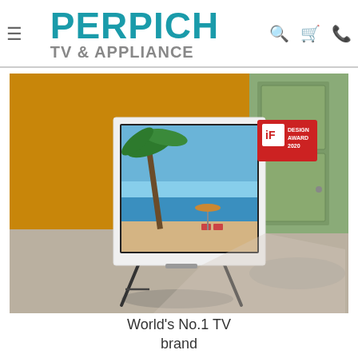PERPICH TV & APPLIANCE
[Figure (photo): Samsung The Serif TV on easel stand in a colorful room with yellow and green walls, displaying a tropical beach scene. An iF Design Award 2020 badge is visible in the top right corner of the image.]
World's No.1 TV brand